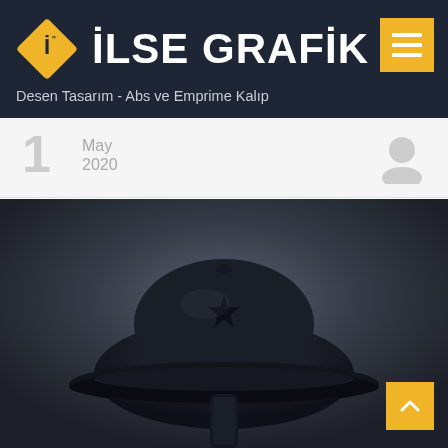İLSE GRAFİK
Desen Tasarım - Abs ve Emprime Kalıp
1 May 2020
[Figure (photo): Close-up photograph of a dark navy/black vintage military-style field cap with a star emblem on top, against a blurred dark background.]
Back to top button